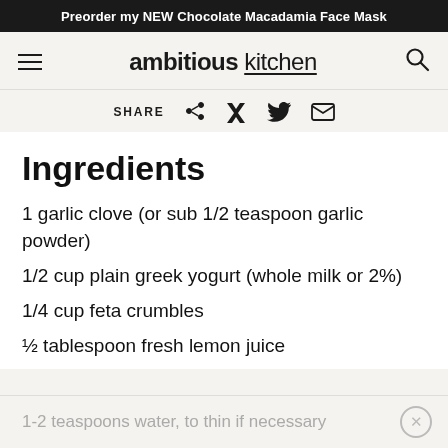Preorder my NEW Chocolate Macadamia Face Mask
ambitious kitchen
SHARE
Ingredients
1 garlic clove (or sub 1/2 teaspoon garlic powder)
1/2 cup plain greek yogurt (whole milk or 2%)
1/4 cup feta crumbles
½ tablespoon fresh lemon juice
1-2 teaspoons water, to thin if necessary